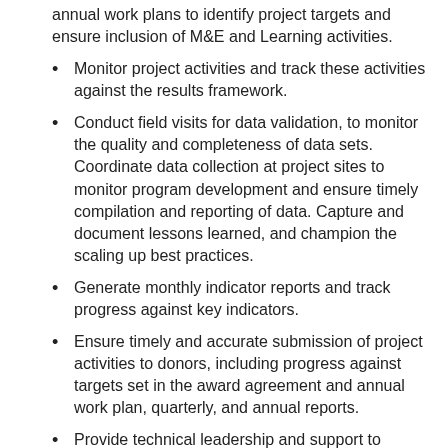annual work plans to identify project targets and ensure inclusion of M&E and Learning activities.
Monitor project activities and track these activities against the results framework.
Conduct field visits for data validation, to monitor the quality and completeness of data sets. Coordinate data collection at project sites to monitor program development and ensure timely compilation and reporting of data. Capture and document lessons learned, and champion the scaling up best practices.
Generate monthly indicator reports and track progress against key indicators.
Ensure timely and accurate submission of project activities to donors, including progress against targets set in the award agreement and annual work plan, quarterly, and annual reports.
Provide technical leadership and support to project and partner staff in planning and implementing M&E systems and activities, data-based program decision-making, and results reporting.  Supervise, mentor, and build the capacity of project M&E staff.
Develop and implement effective monitoring tools and approaches to demonstrate the effectiveness of project